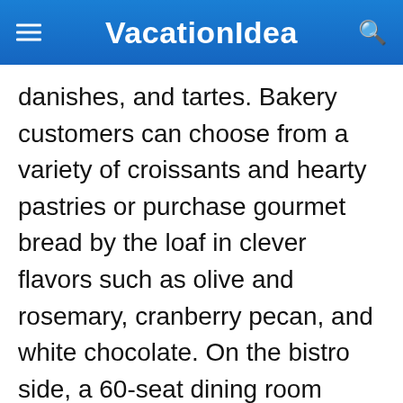VacationIdea
danishes, and tartes. Bakery customers can choose from a variety of croissants and hearty pastries or purchase gourmet bread by the loaf in clever flavors such as olive and rosemary, cranberry pecan, and white chocolate. On the bistro side, a 60-seat dining room serves up entrees such as wasabi pea-encrusted yellowfin tuna, quenelle de Lyon, and Tomahawk pork chops, while a Chef's Table and bar offers exclusive tasting experiences. A raw bar also serves up fresh-caught Wellfleet clams and oysters by the